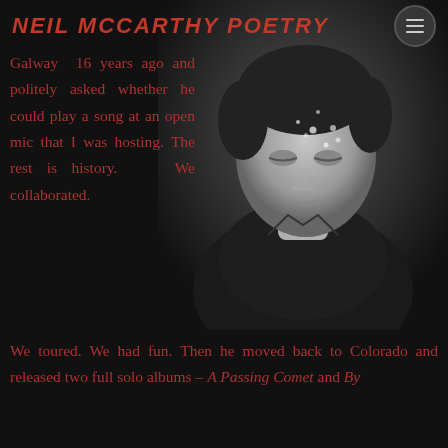NEIL MCCARTHY POETRY
[Figure (photo): Black and white portrait photo of a man in a dark shirt, looking down, with small water droplets visible on his face/forehead]
Galway 16 years ago and politely asked whether he could play a song at an open mic that I was hosting. The rest is history. We collaborated. We toured. We had fun. Then he moved back to Colorado and released two full solo albums – A Passing Comet and By